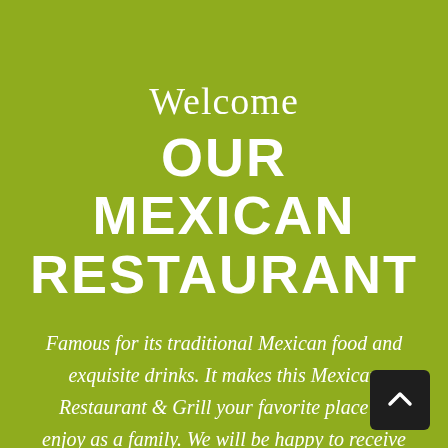Welcome
OUR MEXICAN RESTAURANT
Famous for its traditional Mexican food and exquisite drinks. It makes this Mexican Restaurant & Grill your favorite place to enjoy as a family. We will be happy to receive you in this house.